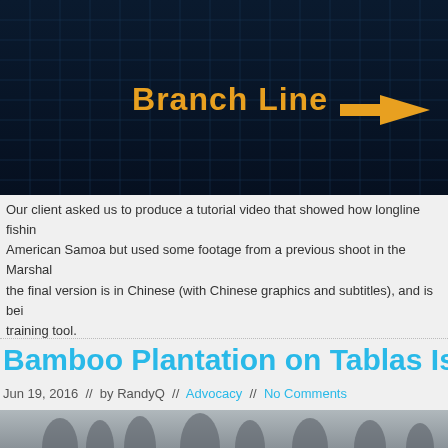[Figure (screenshot): Dark blue grid/mesh background with text 'Branch Line' in orange/yellow color and an orange arrow pointing right]
Our client asked us to produce a tutorial video that showed how longline fishing... American Samoa but used some footage from a previous shoot in the Marshall... the final version is in Chinese (with Chinese graphics and subtitles), and is bei... training tool.
Bamboo Plantation on Tablas Islan...
Jun 19, 2016  //  by RandyQ  //  Advocacy  //  No Comments
[Figure (photo): Grayscale/misty photo of palm trees silhouetted against a gray sky]